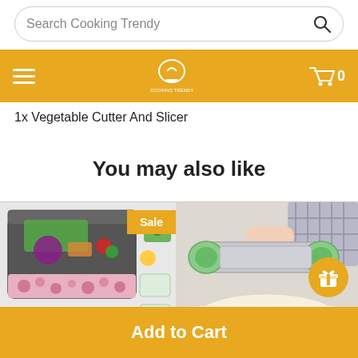Search Cooking Trendy
[Figure (logo): Cooking Trendy logo with chef hat icon, hamburger menu on left, cart icon showing 0 on right, gold/yellow navigation bar]
1x Vegetable Cutter And Slicer
You may also like
[Figure (photo): Multi-function vegetable chopper/dicer set in gray and pink floral container with green accents, showing various blade attachments and cut vegetables. Sale badge displayed.]
[Figure (photo): Handheld spiralizer tool in gray and green, shown with sliced green vegetable pieces in a white bowl on wooden surface. Gift button overlay in bottom right.]
Add to Cart